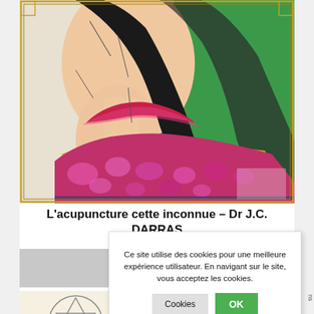[Figure (illustration): Colorful stylized illustration of a woman in ornate traditional dress with pink floral patterns, a gold/yellow band, green wrap, and dark braided hair, facing left — in the style of an acupuncture or medical art poster.]
L'acupuncture cette inconnue – Dr J.C. DARRAS
[Figure (illustration): Partial view of a line drawing — geometric shapes suggesting a circle and rectangle, possibly an anatomical or geometric diagram related to acupuncture.]
Ce site utilise des cookies pour une meilleure expérience utilisateur. En navigant sur le site, vous acceptez les cookies.